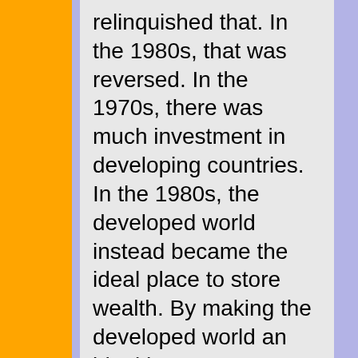relinquished that. In the 1980s, that was reversed. In the 1970s, there was much investment in developing countries. In the 1980s, the developed world instead became the ideal place to store wealth. By making the developed world an ideal home to store wealth, we were able to ensure massive capital flows out of the